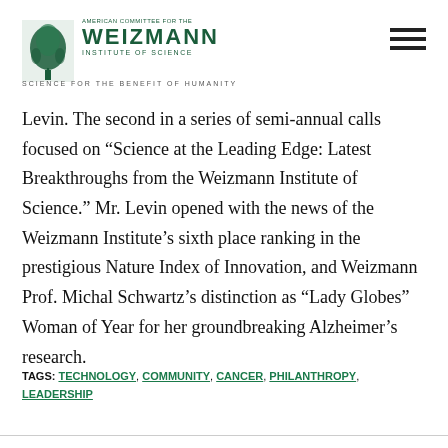American Committee for the Weizmann Institute of Science — Science for the Benefit of Humanity
Levin. The second in a series of semi-annual calls focused on “Science at the Leading Edge: Latest Breakthroughs from the Weizmann Institute of Science.” Mr. Levin opened with the news of the Weizmann Institute’s sixth place ranking in the prestigious Nature Index of Innovation, and Weizmann Prof. Michal Schwartz’s distinction as “Lady Globes” Woman of Year for her groundbreaking Alzheimer’s research.
TAGS: TECHNOLOGY, COMMUNITY, CANCER, PHILANTHROPY, LEADERSHIP